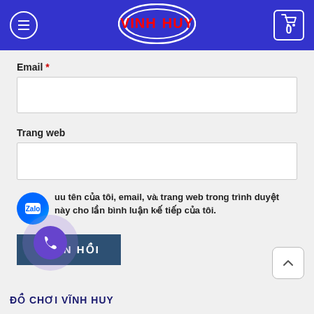[Figure (logo): Vinh Huy logo: red text VINH HUY on blue oval background, shown in header navigation bar]
Email *
Trang web
Lưu tên của tôi, email, và trang web trong trình duyệt này cho lần bình luận kế tiếp của tôi.
PHẢN HỒI
ĐỒ CHƠI VĨNH HUY